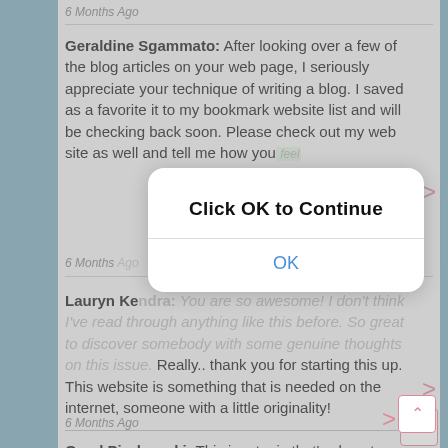6 Months Ago
Geraldine Sgammato: After looking over a few of the blog articles on your web page, I seriously appreciate your technique of writing a blog. I saved as a favorite it to my bookmark website list and will be checking back soon. Please check out my web site as well and tell me how you feel.
6 Months Ago
Lauryn Kendra: You are so awesome! I don't think I've read through anything like this before. So great to discover somebody with some genuine thoughts on this issue. Really.. thank you for starting this up. This website is something that is needed on the internet, someone with a little originality!
6 Months Ago
Orval Piurkowski: This is a topic that's close to my heart... Best wishes! Where are your contact details though?
[Figure (screenshot): Mobile app dialog overlay with 'Click OK to Continue' title and an OK button in blue, displayed over a greyed-out comment feed.]